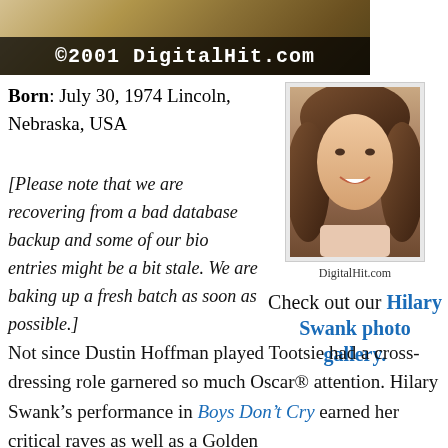[Figure (photo): Header banner with glittery/metallic background and copyright text '©2001 DigitalHit.com' in white bold monospace on dark overlay]
Born: July 30, 1974 Lincoln, Nebraska, USA
[Please note that we are recovering from a bad database backup and some of our bio entries might be a bit stale. We are baking up a fresh batch as soon as possible.]
[Figure (photo): Small portrait photo of Hilary Swank smiling, with caption 'DigitalHit.com']
Check out our Hilary Swank photo gallery.
Not since Dustin Hoffman played Tootsie had a cross-dressing role garnered so much Oscar® attention. Hilary Swank's performance in Boys Don't Cry earned her critical raves as well as a Golden